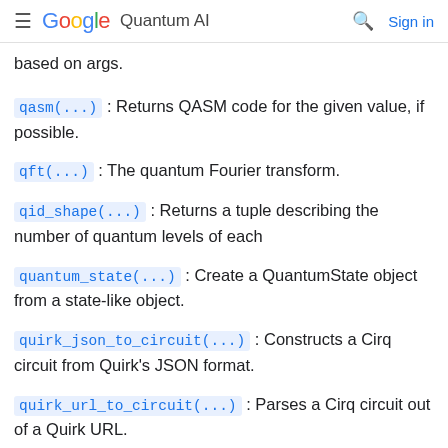Google Quantum AI
based on args.
qasm(...) : Returns QASM code for the given value, if possible.
qft(...) : The quantum Fourier transform.
qid_shape(...) : Returns a tuple describing the number of quantum levels of each
quantum_state(...) : Create a QuantumState object from a state-like object.
quirk_json_to_circuit(...) : Constructs a Cirq circuit from Quirk's JSON format.
quirk_url_to_circuit(...) : Parses a Cirq circuit out of a Quirk URL.